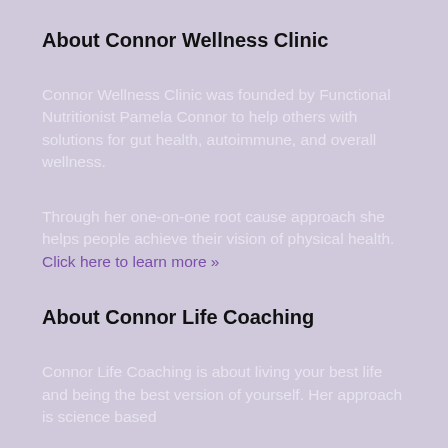About Connor Wellness Clinic
Connor Wellness Clinic was founded by Functional Nutritionist Pamela Connor to help others with solutions for gut health, autoimmune, and overall wellness.
Through her one-on-one root cause approach she helps people achieve their vision of physical health. Click here to learn more »
About Connor Life Coaching
Connor Life Coaching is about living your best life and being the best version of yourself. Her approach is science based